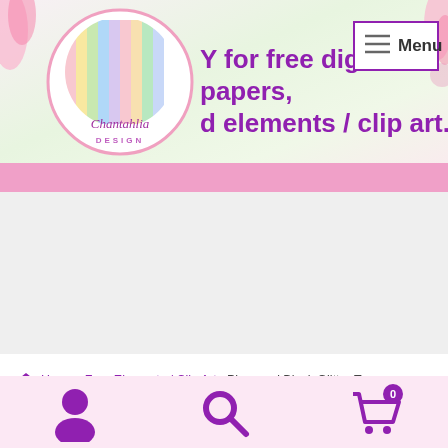[Figure (screenshot): Chantahlia Design website header banner with logo circle containing pastel color stripes, pink flowers on sides, and purple tagline text 'Your source for free digital papers, and elements / clip art.']
Menu
[Figure (other): Pink horizontal navigation bar]
[Figure (other): Gray advertisement area]
Home > Free Elements / Clip Art > Plum and Black Glitter Tags
[Figure (other): Bottom toolbar with person icon, search icon, and shopping cart icon with badge showing 0]